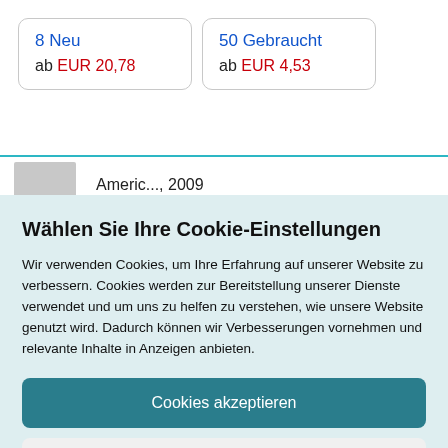8 Neu
ab EUR 20,78
50 Gebraucht
ab EUR 4,53
Americ..., 2009
Wählen Sie Ihre Cookie-Einstellungen
Wir verwenden Cookies, um Ihre Erfahrung auf unserer Website zu verbessern. Cookies werden zur Bereitstellung unserer Dienste verwendet und um uns zu helfen zu verstehen, wie unsere Website genutzt wird. Dadurch können wir Verbesserungen vornehmen und relevante Inhalte in Anzeigen anbieten.
Cookies akzeptieren
Cookies anpassen